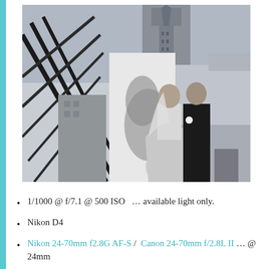[Figure (photo): Black and white wedding photo of a bride and groom on a rooftop with urban skyline and tall building in background. The bride wearing a strapless gown and veil looks up at the groom who is leaning in toward her. Dramatic shadows on a white wall behind them.]
1/1000 @ f/7.1 @ 500 ISO  … available light only.
Nikon D4
Nikon 24-70mm f2.8G AF-S /  Canon 24-70mm f/2.8L II … @ 24mm
The sunlight, slightly filtered by the thin cloud layer, was just